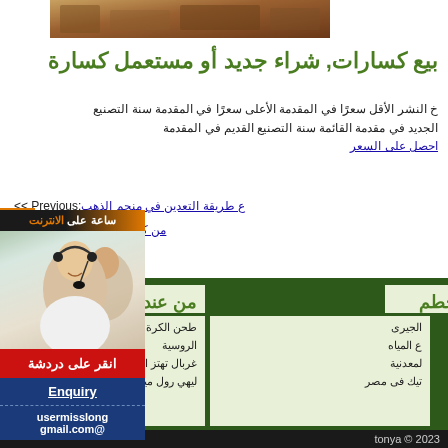[Figure (photo): Construction or mining site photo at top of page]
بيع كسارات, شراء جديد أو مستعمل كسارة
خ النشر الأقل سعرًا في المقدمة الأعلى سعرًا في المقدمة سنة التصنيع الجديد في مقدمة القائمة سنة التصنيع القديم في المقدمة
احصل على السعر
<< Previous: ع طريقة التعدين في منجم الذهب
>> Next: من كسارة تقبلة قائمة
حطم
من عند
الجيرى
ع المياه
لمعدنية
تيك فى مصر
طحن الكرة المعدنية المعالجة الروسية
غربال تهتز الرمل الناعم الخطى
ليهي رول ميلز تعليمات مزيج
[Figure (photo): Customer service representative with headset, sidebar widget]
ساعة على الانترنت
انقر على دردشة
Enquiry
usermisslong@gmail.com
tonya © 2023